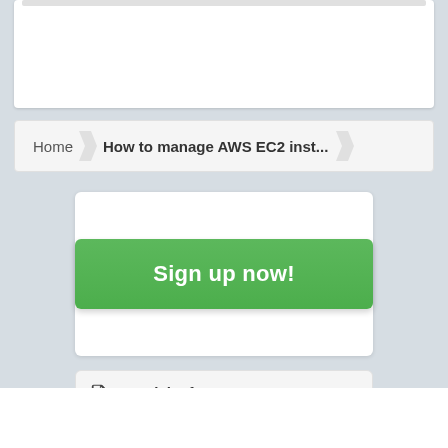[Figure (screenshot): Partial top white card with a grey bar at the top, cropped]
Home  How to manage AWS EC2 inst...
[Figure (screenshot): Green 'Sign up now!' button inside a white rounded card]
Tutorial Info
Author: Rahul Shivalkar
Tags: cloud, linux